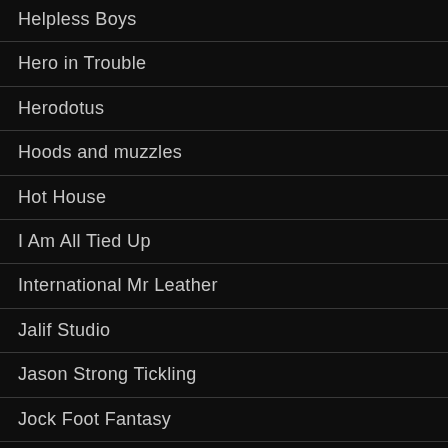Helpless Boys
Hero in Trouble
Herodotus
Hoods and muzzles
Hot House
I Am All Tied Up
International Mr Leather
Jalif Studio
Jason Strong Tickling
Jock Foot Fantasy
Jock Spank
Jockstrap Central
Jotto